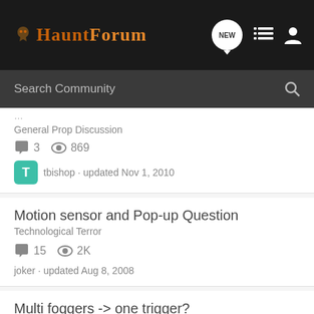HauntForum
Search Community
General Prop Discussion
3 replies · 869 views
tbishop · updated Nov 1, 2010
Motion sensor and Pop-up Question
Technological Terror
15 replies · 2K views
joker · updated Aug 8, 2008
Multi foggers -> one trigger?
Foggers